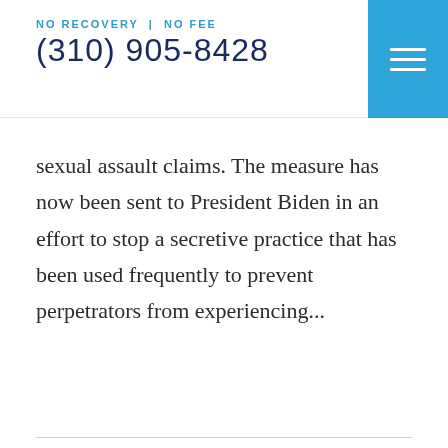NO RECOVERY | NO FEE
(310) 905-8428
sexual assault claims. The measure has now been sent to President Biden in an effort to stop a secretive practice that has been used frequently to prevent perpetrators from experiencing...
[Figure (other): Dark navy blue 'READ MORE' button with double chevron arrows >>]